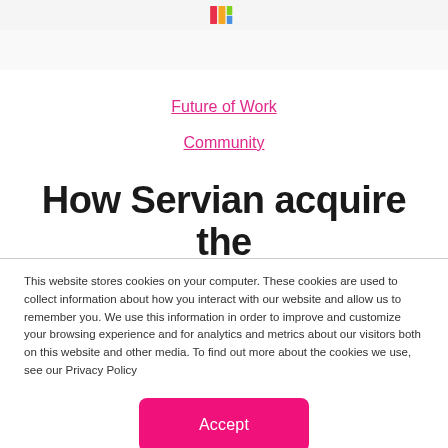Servian logo / navigation header
Future of Work
Community
How Servian acquire the right talent...
This website stores cookies on your computer. These cookies are used to collect information about how you interact with our website and allow us to remember you. We use this information in order to improve and customize your browsing experience and for analytics and metrics about our visitors both on this website and other media. To find out more about the cookies we use, see our Privacy Policy
Accept